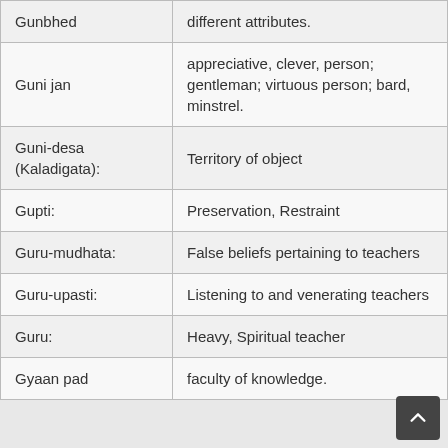| Term | Definition |
| --- | --- |
| Gunbhed | different attributes. |
| Guni jan | appreciative, clever, person; gentleman; virtuous person; bard, minstrel. |
| Guni-desa (Kaladigata): | Territory of object |
| Gupti: | Preservation, Restraint |
| Guru-mudhata: | False beliefs pertaining to teachers |
| Guru-upasti: | Listening to and venerating teachers |
| Guru: | Heavy, Spiritual teacher |
| Gyaan pad | faculty of knowledge. |